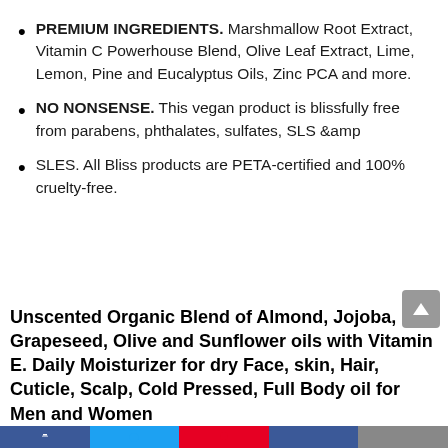PREMIUM INGREDIENTS. Marshmallow Root Extract, Vitamin C Powerhouse Blend, Olive Leaf Extract, Lime, Lemon, Pine and Eucalyptus Oils, Zinc PCA and more.
NO NONSENSE. This vegan product is blissfully free from parabens, phthalates, sulfates, SLS &amp
SLES. All Bliss products are PETA-certified and 100% cruelty-free.
Unscented Organic Blend of Almond, Jojoba, Grapeseed, Olive and Sunflower oils with Vitamin E. Daily Moisturizer for dry Face, skin, Hair, Cuticle, Scalp, Cold Pressed, Full Body oil for Men and Women